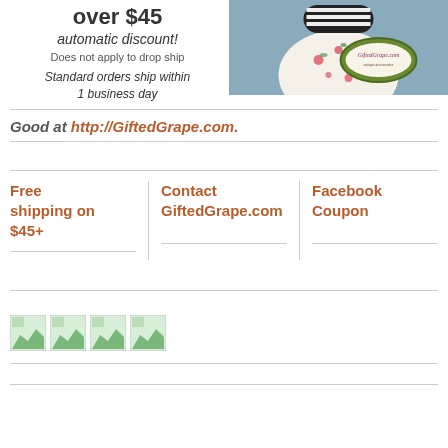over $45 automatic discount! Does not apply to drop ship Standard orders ship within 1 business day
[Figure (photo): Woman in floral dress with striped hat, GiftedGrape.com logo oval badge]
Good at http://GiftedGrape.com.
Free shipping on $45+
Contact GiftedGrape.com
Facebook Coupon
[Figure (illustration): Four small image thumbnails in a row]